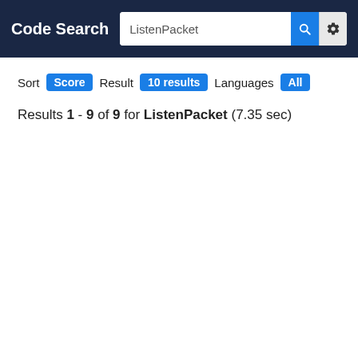Code Search — ListenPacket
Sort Score Result 10 results Languages All
Results 1 - 9 of 9 for ListenPacket (7.35 sec)